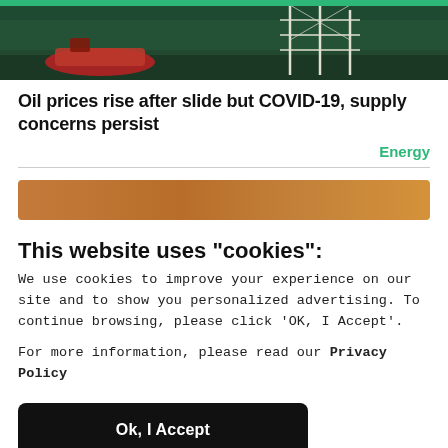[Figure (photo): Photograph of an offshore oil platform or vessel with red boat visible and scaffolding structure against dark water background]
Oil prices rise after slide but COVID-19, supply concerns persist
Energy
[Figure (other): Brown/tan horizontal bar, appears to be a loading or advertisement bar]
This website uses "cookies":
We use cookies to improve your experience on our site and to show you personalized advertising. To continue browsing, please click 'OK, I Accept'.
For more information, please read our Privacy Policy
Ok, I Accept